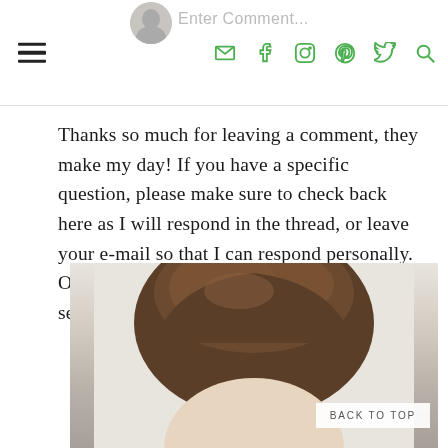Enter Comment [navigation icons: email, facebook, instagram, pinterest, twitter, search]
Thanks so much for leaving a comment, they make my day! If you have a specific question, please make sure to check back here as I will respond in the thread, or leave your e-mail so that I can respond personally. Or, email me directly to address in "Contact" section at top.
[Figure (photo): Top of a person's head with brown hair, partially visible, against a light background]
BACK TO TOP